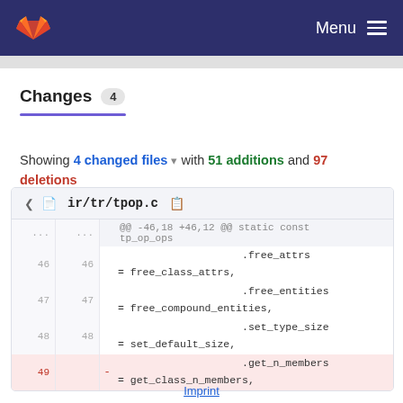GitLab — Menu
Changes 4
Showing 4 changed files with 51 additions and 97 deletions
ir/tr/tpop.c
| old | new | op | code |
| --- | --- | --- | --- |
| ... | ... |  | @@ -46,18 +46,12 @@ static const tp_op_ops |
| 46 | 46 |  |                     .free_attrs
= free_class_attrs, |
| 47 | 47 |  |                     .free_entities
= free_compound_entities, |
| 48 | 48 |  |                     .set_type_size
= set_default_size, |
| 49 |  | - |                     .get_n_members
= get_class_n_members, |
Imprint